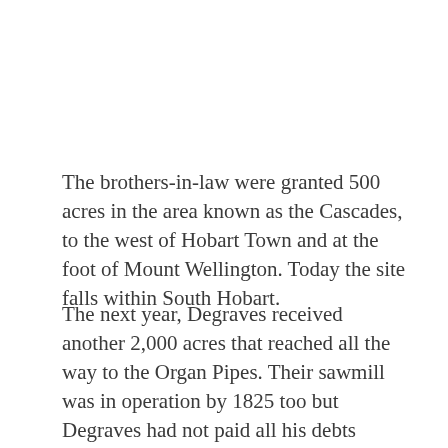The brothers-in-law were granted 500 acres in the area known as the Cascades, to the west of Hobart Town and at the foot of Mount Wellington. Today the site falls within South Hobart.
The next year, Degraves received another 2,000 acres that reached all the way to the Organ Pipes. Their sawmill was in operation by 1825 too but Degraves had not paid all his debts before leaving England, so he was sent to prison in 1826 and the brothers-in-law lost their